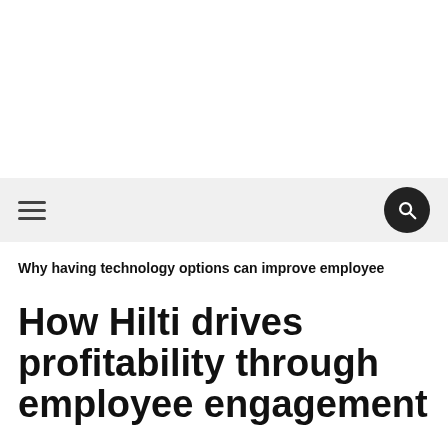Navigation bar with hamburger menu and search icon
Why having technology options can improve employee
How Hilti drives profitability through employee engagement
Written by Emal Hakikat on May 23, 2016